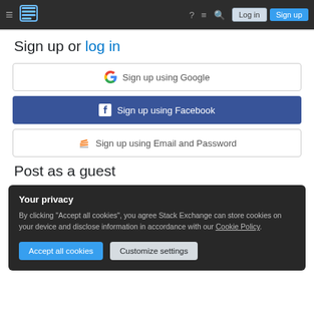Stack Exchange navigation bar with hamburger menu, logo, help, inbox, search icons, Log in and Sign up buttons
Sign up or log in
Sign up using Google
Sign up using Facebook
Sign up using Email and Password
Post as a guest
Your privacy
By clicking "Accept all cookies", you agree Stack Exchange can store cookies on your device and disclose information in accordance with our Cookie Policy.
Accept all cookies
Customize settings